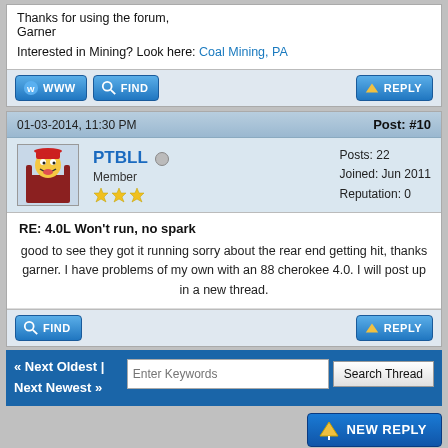Thanks for using the forum,
Garner
Interested in Mining? Look here: Coal Mining, PA
01-03-2014, 11:30 PM	Post: #10
PTBLL
Member
Posts: 22
Joined: Jun 2011
Reputation: 0
RE: 4.0L Won't run, no spark
good to see they got it running sorry about the rear end getting hit, thanks garner. I have problems of my own with an 88 cherokee 4.0. I will post up in a new thread.
« Next Oldest | Next Newest »
NEW REPLY